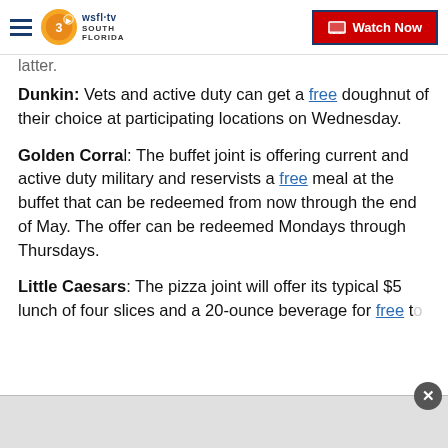WSFL-TV South Florida — Watch Now
latter.
Dunkin: Vets and active duty can get a free doughnut of their choice at participating locations on Wednesday.
Golden Corral: The buffet joint is offering current and active duty military and reservists a free meal at the buffet that can be redeemed from now through the end of May. The offer can be redeemed Mondays through Thursdays.
Little Caesars: The pizza joint will offer its typical $5 lunch of four slices and a 20-ounce beverage for free to